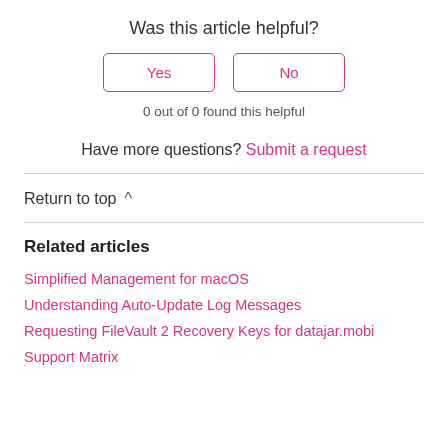Was this article helpful?
Yes   No
0 out of 0 found this helpful
Have more questions? Submit a request
Return to top
Related articles
Simplified Management for macOS
Understanding Auto-Update Log Messages
Requesting FileVault 2 Recovery Keys for datajar.mobi
Support Matrix